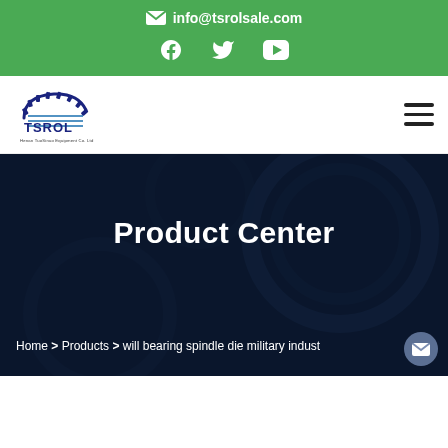info@tsrolsale.com
[Figure (logo): TSROL company logo with gear icon and text 'Henan TuoSinuo Equipment Co. Ltd']
Product Center
Home > Products > will bearing spindle die military indust